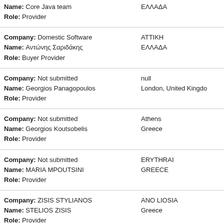Name: Core Java team
Role: Provider
[right] ΕΛΛΑΔΑ
Company: Domestic Software
Name: Αντώνης Σαριδάκης
Role: Buyer Provider
[right] ΑΤΤΙΚΗ ΕΛΛΑΔΑ
Company: Not submitted
Name: Georgios Panagopoulos
Role: Provider
[right] null London, United Kingdom
Company: Not submitted
Name: Georgios Koutsobelis
Role: Provider
[right] Athens Greece
Company: Not submitted
Name: MARIA MPOUTSINI
Role: Provider
[right] ERYTHRAI GREECE
Company: ZISIS STYLIANOS
Name: STELIOS ZISIS
Role: Provider
[right] ANO LIOSIA Greece
Company: Not submitted
Name: sasasasa asasasas
[right] wwqs